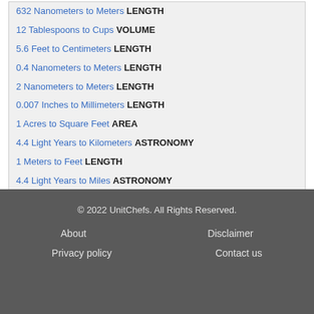632 Nanometers to Meters LENGTH
12 Tablespoons to Cups VOLUME
5.6 Feet to Centimeters LENGTH
0.4 Nanometers to Meters LENGTH
2 Nanometers to Meters LENGTH
0.007 Inches to Millimeters LENGTH
1 Acres to Square Feet AREA
4.4 Light Years to Kilometers ASTRONOMY
1 Meters to Feet LENGTH
4.4 Light Years to Miles ASTRONOMY
54.7 Kilograms to Stone WEIGHT
54.7 Kilograms to Ounces WEIGHT
© 2022 UnitChefs. All Rights Reserved. About Disclaimer Privacy policy Contact us